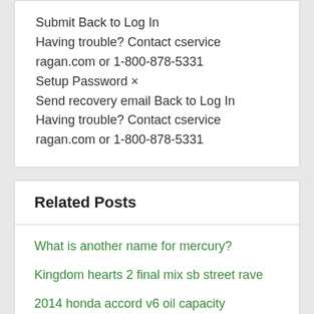Submit Back to Log In Having trouble? Contact cservice ragan.com or 1-800-878-5331 Setup Password × Send recovery email Back to Log In Having trouble? Contact cservice ragan.com or 1-800-878-5331
Related Posts
What is another name for mercury?
Kingdom hearts 2 final mix sb street rave
2014 honda accord v6 oil capacity
The ability of an atom in a molecule to attract electrons